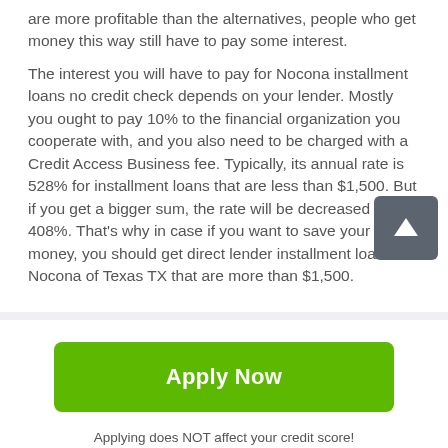are more profitable than the alternatives, people who get money this way still have to pay some interest.
The interest you will have to pay for Nocona installment loans no credit check depends on your lender. Mostly you ought to pay 10% to the financial organization you cooperate with, and you also need to be charged with a Credit Access Business fee. Typically, its annual rate is 528% for installment loans that are less than $1,500. But if you get a bigger sum, the rate will be decreased to 408%. That's why in case if you want to save your money, you should get direct lender installment loans in Nocona of Texas TX that are more than $1,500.
Apply Now
Applying does NOT affect your credit score!
No credit check to apply.